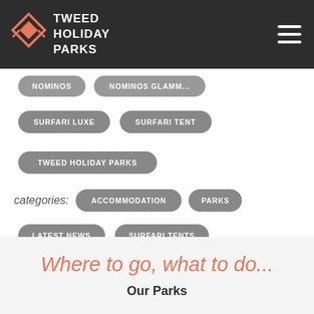TWEED HOLIDAY PARKS
SURFARI LUXE
SURFARI TENT
TWEED HOLIDAY PARKS
categories: ACCOMMODATION PARKS LATEST NEWS SURFARI TENTS
Where to go, what to do...
Our Parks